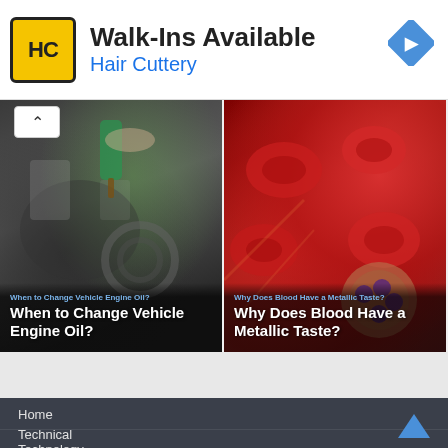[Figure (screenshot): Hair Cuttery advertisement banner with yellow HC logo, 'Walk-Ins Available' headline, blue navigation diamond icon]
[Figure (photo): Article thumbnail: person pouring engine oil into car engine, title 'When to Change Vehicle Engine Oil?']
[Figure (photo): Article thumbnail: red blood cells illustration, title 'Why Does Blood Have a Metallic Taste?']
Home
Technical
Technology